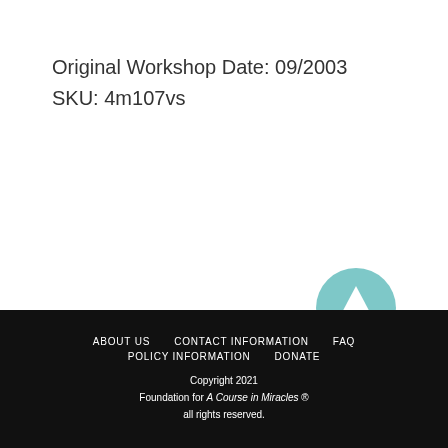Original Workshop Date: 09/2003
SKU: 4m107vs
[Figure (illustration): Teal/light-blue circular button with an upward-pointing white arrow icon, used as a scroll-to-top button]
ABOUT US   CONTACT INFORMATION   FAQ   POLICY INFORMATION   DONATE   Copyright 2021   Foundation for A Course in Miracles ®   all rights reserved.